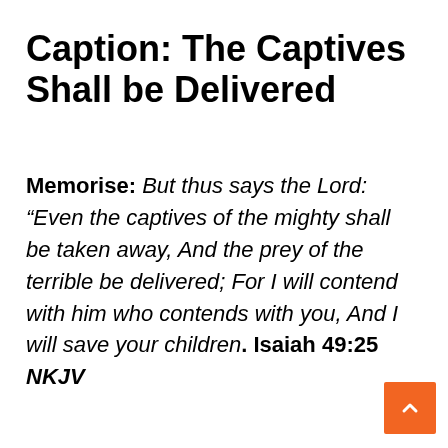Caption: The Captives Shall be Delivered
Memorise: But thus says the Lord: “Even the captives of the mighty shall be taken away, And the prey of the terrible be delivered; For I will contend with him who contends with you, And I will save your children. Isaiah 49:25 NKJV